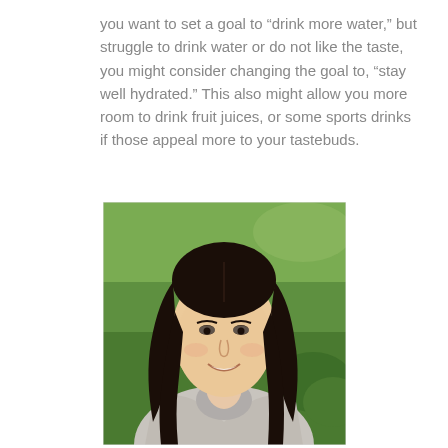you want to set a goal to “drink more water,” but struggle to drink water or do not like the taste, you might consider changing the goal to, “stay well hydrated.” This also might allow you more room to drink fruit juices, or some sports drinks if those appeal more to your tastebuds.
[Figure (photo): Portrait photo of a young woman with long dark hair, smiling, wearing a light grey top, against an outdoor green grass background.]